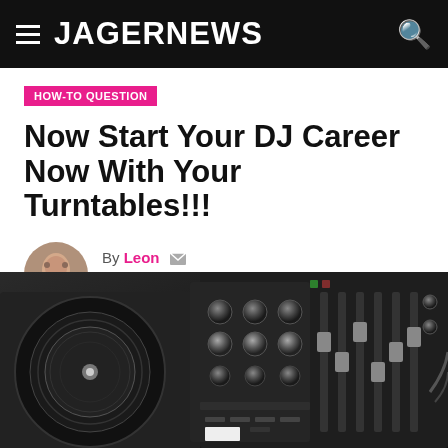JAGERNEWS
HOW-TO QUESTION
Now Start Your DJ Career Now With Your Turntables!!!
By Leon  Posted on November 15, 2019
[Figure (photo): Close-up black and white photo of a DJ turntable/mixer with knobs, faders, and controls]